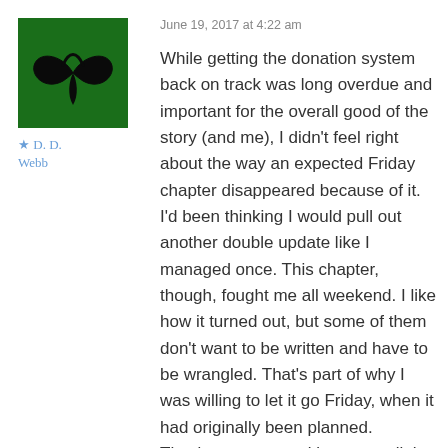[Figure (illustration): Avatar/logo image: dark green square background with a stylized black wing or check-mark symbol in the center]
★ D. D. Webb
June 19, 2017 at 4:22 am
While getting the donation system back on track was long overdue and important for the overall good of the story (and me), I didn't feel right about the way an expected Friday chapter disappeared because of it. I'd been thinking I would pull out another double update like I managed once. This chapter, though, fought me all weekend. I like how it turned out, but some of them don't want to be written and have to be wrangled. That's part of why I was willing to let it go Friday, when it had originally been planned. They've got me working extra all the first part of this week, but I'll see if I can crank out an extra for Wednesday. I feel it's the least I can do, considering.